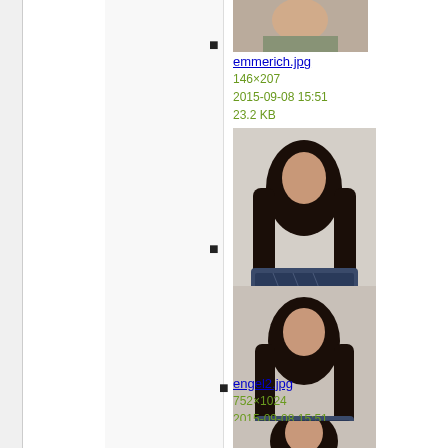[Figure (photo): Thumbnail photo of person (emmerich.jpg) - partial head/shoulders shot]
emmerich.jpg
146×207
2015-09-08 15:51
23.2 KB
[Figure (photo): Thumbnail photo of person (engel1.jpg) - person with long dark hair seated]
engel1.jpg
718×1024
2015-09-08 15:51
96.5 KB
[Figure (photo): Thumbnail photo of person (engel2.jpg) - person with long dark hair close-up]
engel2.jpg
752×1024
2015-09-08 15:51
87.3 KB
[Figure (photo): Partial thumbnail of another photo at bottom of page]